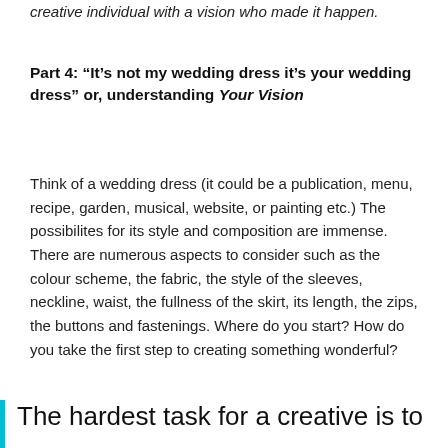creative individual with a vision who made it happen.
Part 4: “It’s not my wedding dress it’s your wedding dress” or, understanding Your Vision
Think of a wedding dress (it could be a publication, menu, recipe, garden, musical, website, or painting etc.) The possibilites for its style and composition are immense. There are numerous aspects to consider such as the colour scheme, the fabric, the style of the sleeves, neckline, waist, the fullness of the skirt, its length, the zips, the buttons and fastenings. Where do you start? How do you take the first step to creating something wonderful?
The hardest task for a creative is to